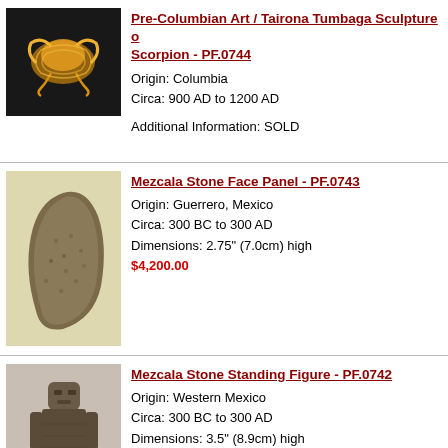[Figure (photo): Golden Tairona Tumbaga scorpion sculpture on dark background]
Pre-Columbian Art / Tairona Tumbaga Sculpture of Scorpion - PF.0744
Origin: Columbia
Circa: 900 AD to 1200 AD
Additional Information: SOLD
[Figure (photo): Mezcala stone face panel, rough textured rock with face features, on light background]
Mezcala Stone Face Panel - PF.0743
Origin: Guerrero, Mexico
Circa: 300 BC to 300 AD
Dimensions: 2.75" (7.0cm) high
$4,200.00
[Figure (photo): Mezcala stone standing figure, humanoid form on pinkish-grey background]
Mezcala Stone Standing Figure - PF.0742
Origin: Western Mexico
Circa: 300 BC to 300 AD
Dimensions: 3.5" (8.9cm) high
$5,600.00